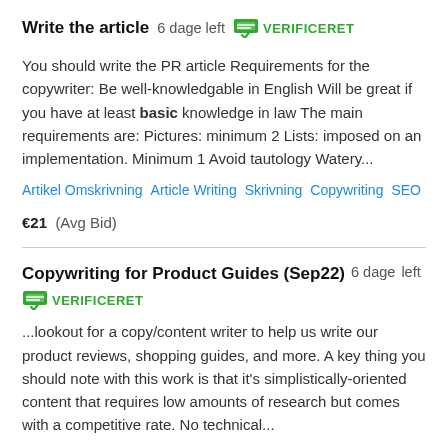Write the article  6 dage left  VERIFICERET
You should write the PR article Requirements for the copywriter: Be well-knowledgable in English Will be great if you have at least basic knowledge in law The main requirements are: Pictures: minimum 2 Lists: imposed on an implementation. Minimum 1 Avoid tautology Watery...
Artikel Omskrivning   Article Writing   Skrivning   Copywriting   SEO
€21   (Avg Bid)
Copywriting for Product Guides (Sep22)  6 dage left  VERIFICERET
...lookout for a copy/content writer to help us write our product reviews, shopping guides, and more. A key thing you should note with this work is that it's simplistically-oriented content that requires low amounts of research but comes with a competitive rate. No technical...